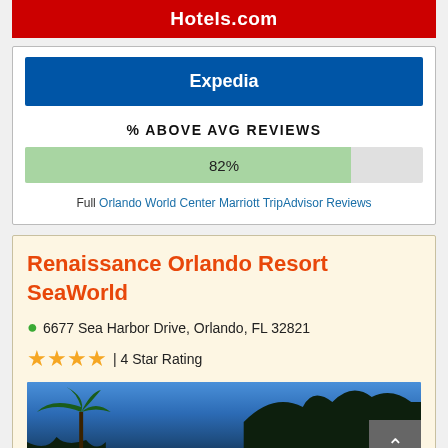[Figure (other): Hotels.com red banner (partially visible at top)]
[Figure (other): Expedia blue banner button]
% ABOVE AVG REVIEWS
[Figure (bar-chart): % Above Avg Reviews]
Full Orlando World Center Marriott TripAdvisor Reviews
Renaissance Orlando Resort SeaWorld
6677 Sea Harbor Drive, Orlando, FL 32821
★★★★ | 4 Star Rating
[Figure (photo): Hotel exterior photo at dusk/night with palm trees and tropical architecture against blue sky]